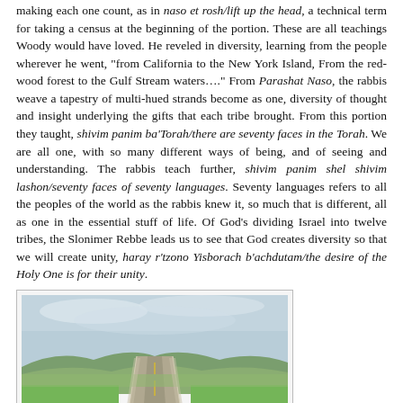making each one count, as in naso et rosh/lift up the head, a technical term for taking a census at the beginning of the portion. These are all teachings Woody would have loved. He reveled in diversity, learning from the people wherever he went, "from California to the New York Island, From the red-wood forest to the Gulf Stream waters…." From Parashat Naso, the rabbis weave a tapestry of multi-hued strands become as one, diversity of thought and insight underlying the gifts that each tribe brought. From this portion they taught, shivim panim ba'Torah/there are seventy faces in the Torah. We are all one, with so many different ways of being, and of seeing and understanding. The rabbis teach further, shivim panim shel shivim lashon/seventy faces of seventy languages. Seventy languages refers to all the peoples of the world as the rabbis knew it, so much that is different, all as one in the essential stuff of life. Of God's dividing Israel into twelve tribes, the Slonimer Rebbe leads us to see that God creates diversity so that we will create unity, haray r'tzono Yisborach b'achdutam/the desire of the Holy One is for their unity.
[Figure (photo): A long straight road stretching into the distance through rolling green fields and hills under a partly cloudy sky, viewed from the center of the road looking forward.]
Torah is a radical song if we really hear it, like Woody's songs, at times a bit more subtle. At other times boldly challenging, lifting our eyes to see beyond barriers that